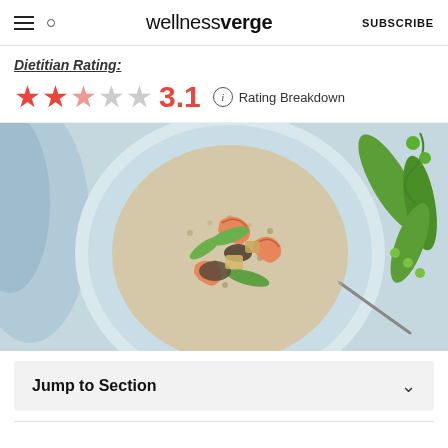wellnessverge | SUBSCRIBE
Dietitian Rating:
3.1 Rating Breakdown
[Figure (photo): Overhead photo of a blue plate with shrimp, snap peas, quinoa, and mixed vegetables with a fork, alongside green pea pods and a blue cloth napkin on a light blue surface.]
Jump to Section